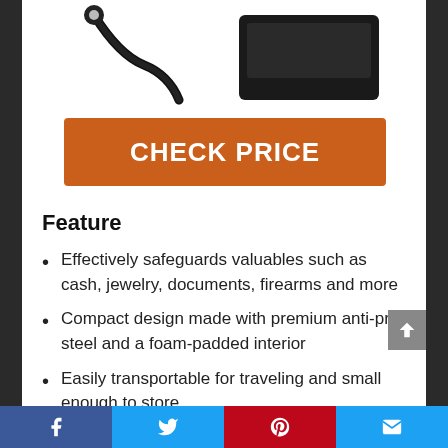[Figure (photo): Partial product photo showing a black safe with a power cable/adapter, cropped at the top of the page]
CHECK PRICE
Feature
Effectively safeguards valuables such as cash, jewelry, documents, firearms and more
Compact design made with premium anti-pry steel and a foam-padded interior
Easily transportable for traveling and small enough to store